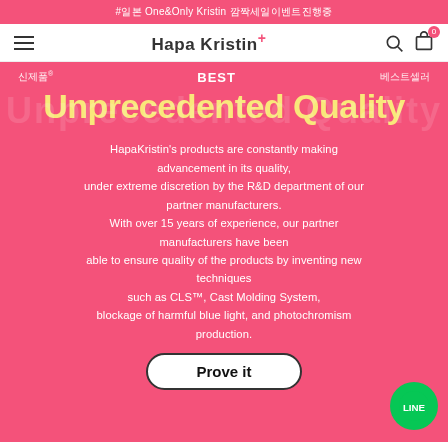#일본 One&Only Kristin 깜짝세일이벤트진행중
Hapa Kristin+
신제품®   BEST   베스트셀러
Unprecedented Quality
HapaKristin's products are constantly making advancement in its quality, under extreme discretion by the R&D department of our partner manufacturers. With over 15 years of experience, our partner manufacturers have been able to ensure quality of the products by inventing new techniques such as CLS™, Cast Molding System, blockage of harmful blue light, and photochromism production.
Prove it